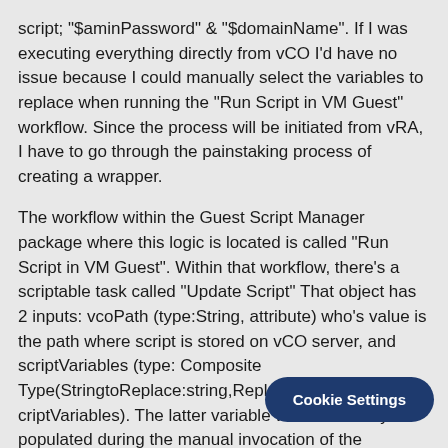script; "$aminPassword" & "$domainName". If I was executing everything directly from vCO I'd have no issue because I could manually select the variables to replace when running the "Run Script in VM Guest" workflow.  Since the process will be initiated from vRA, I have to go through the painstaking process of creating a wrapper.
The workflow within the Guest Script Manager package where this logic is located is called "Run Script in VM Guest".  Within that workflow, there's a scriptable task called "Update Script"  That object has 2 inputs: vcoPath (type:String, attribute) who's value is the path where script is stored on vCO server, and scriptVariables (type: Composite Type(StringtoReplace:string,ReplacingString;string):scriptVariables).  The latter variable would normally be populated during the manual invocation of the workflow when the requester selects the script that they want to have ran.  Since I'm using vRA for the requesting, I have to script the population of the variable based upon string inp
The code for the Update Script s...